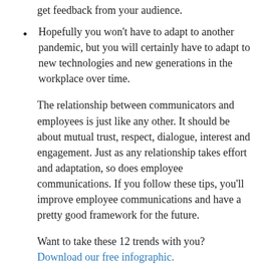get feedback from your audience.
Hopefully you won't have to adapt to another pandemic, but you will certainly have to adapt to new technologies and new generations in the workplace over time.
The relationship between communicators and employees is just like any other. It should be about mutual trust, respect, dialogue, interest and engagement. Just as any relationship takes effort and adaptation, so does employee communications. If you follow these tips, you'll improve employee communications and have a pretty good framework for the future.
Want to take these 12 trends with you? Download our free infographic.